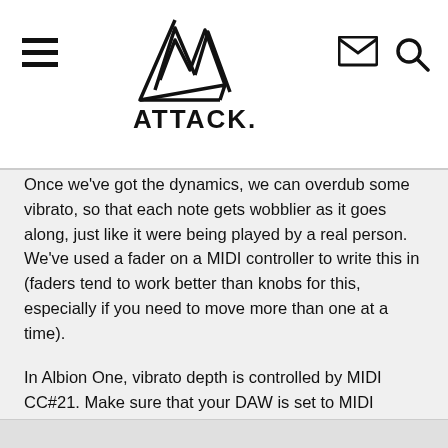ATTACK.
Once we've got the dynamics, we can overdub some vibrato, so that each note gets wobblier as it goes along, just like it were being played by a real person. We've used a fader on a MIDI controller to write this in (faders tend to work better than knobs for this, especially if you need to move more than one at a time).
In Albion One, vibrato depth is controlled by MIDI CC#21. Make sure that your DAW is set to MIDI merge or overdub mode, otherwise you'll wipe out the existing notes as you record the additional vibrato. Alternatively, you can enable your DAW's automation curve display and draw a similar shaped curve with your automation tools to get the desired effect.